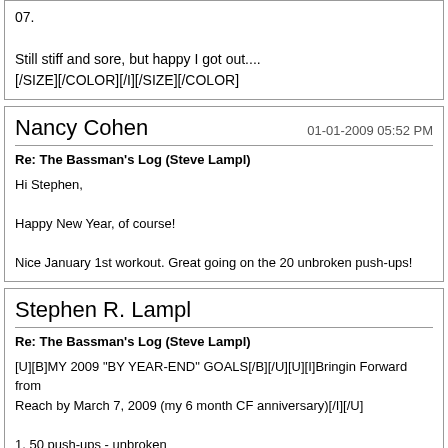07.

Still stiff and sore, but happy I got out....
[/SIZE][/COLOR][/I][/SIZE][/COLOR]
Nancy Cohen
01-01-2009 05:52 PM
Re: The Bassman's Log (Steve Lampl)
Hi Stephen,
Happy New Year, of course!
Nice January 1st workout. Great going on the 20 unbroken push-ups!
Stephen R. Lampl
Re: The Bassman's Log (Steve Lampl)
[U][B]MY 2009 "BY YEAR-END" GOALS[/B][/U][U][I]Bringin Forward from Last Year & Still Want to Reach by March 7, 2009 (my 6 month CF anniversary)[/I][/U]
1. 50 push-ups - unbroken
2. 5 Dead-hang pull-ups [COLOR=Red](reached this goal 12/29/08)[/COLOR]
3. 1.5 BW Dead Lift
4. 10 kipping pull-ups, unbroken [COLOR=Blue](revised downward from 2...
5. Bodyweight Bench Press